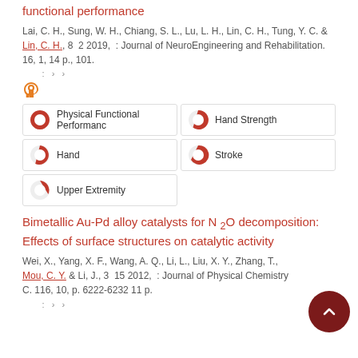functional performance
Lai, C. H., Sung, W. H., Chiang, S. L., Lu, L. H., Lin, C. H., Tung, Y. C. & Lin, C. H., 8 2 2019, : Journal of NeuroEngineering and Rehabilitation. 16, 1, 14 p., 101.
open access icon
[Figure (infographic): Keyword pills with pie-chart percentage icons: Physical Functional Performance (100%), Hand Strength (75%), Hand (80%), Stroke (65%), Upper Extremity (40%)]
Bimetallic Au-Pd alloy catalysts for N 2O decomposition: Effects of surface structures on catalytic activity
Wei, X., Yang, X. F., Wang, A. Q., Li, L., Liu, X. Y., Zhang, T., Mou, C. Y. & Li, J., 3 15 2012, : Journal of Physical Chemistry C. 116, 10, p. 6222-6232 11 p.